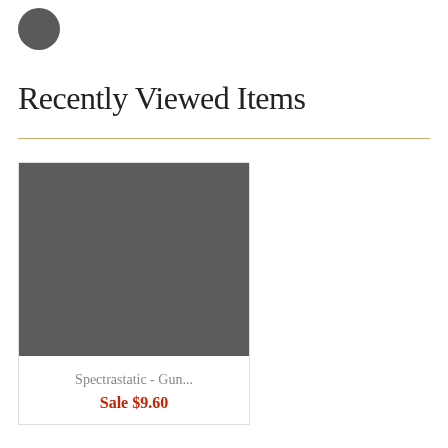[Figure (logo): Dark gray circular logo in top left corner]
Recently Viewed Items
[Figure (photo): Dark gray textured product image for Spectrastatic - Gun...]
Spectrastatic - Gun...
Sale $9.60